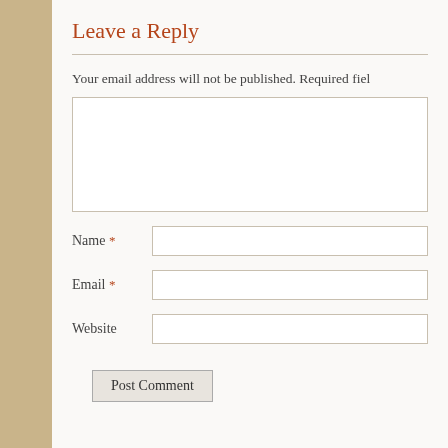Leave a Reply
Your email address will not be published. Required fie...
[Figure (other): Large comment textarea input box]
Name *
[Figure (other): Name text input field]
Email *
[Figure (other): Email text input field]
Website
[Figure (other): Website text input field]
Post Comment